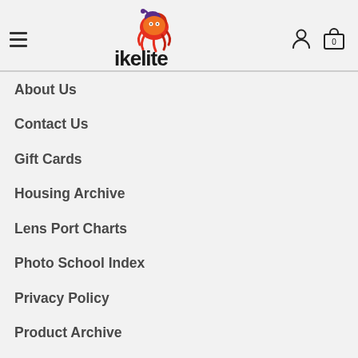[Figure (logo): Ikelite logo with colorful octopus illustration above bold text 'ikelite']
About Us
Contact Us
Gift Cards
Housing Archive
Lens Port Charts
Photo School Index
Privacy Policy
Product Archive